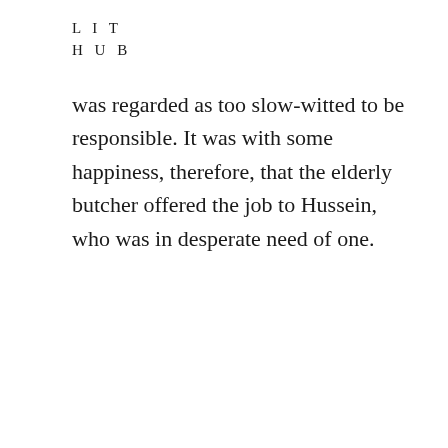L I T
H U B
was regarded as too slow-witted to be responsible. It was with some happiness, therefore, that the elderly butcher offered the job to Hussein, who was in desperate need of one.